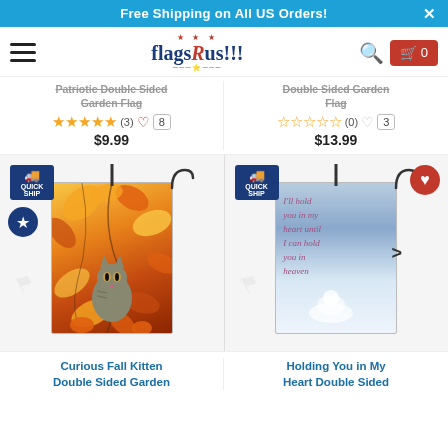Free Shipping on All US Orders!
[Figure (screenshot): FlagsRus!!! website navigation bar with hamburger menu, logo, search icon, and cart button showing 0 items]
Patriotic Double Sided Garden Flag
★★★★★ (3) ♡ 8  $9.99
Double Sided Garden Flag
☆☆☆☆☆ (0) ♡ 3  $13.99
[Figure (photo): Curious Fall Kitten Double Sided Garden Flag product image with autumn leaves and cat, QUICK SHIP badge]
[Figure (photo): Holding You in My Heart Double Sided garden flag with text 'I'll hold you in my heart until I can hold you in heaven', QUICK SHIP badge]
Curious Fall Kitten Double Sided Garden
Holding You in My Heart Double Sided